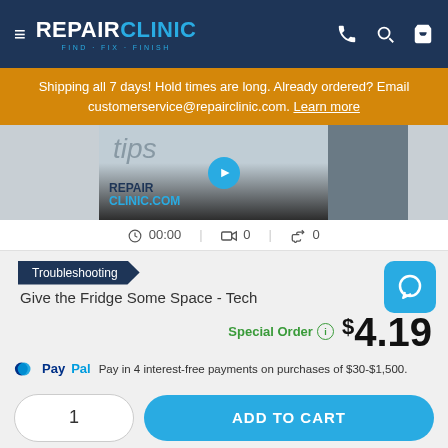[Figure (screenshot): RepairClinic website header with logo, hamburger menu, phone, search, and cart icons on dark blue background]
Shipping all 7 days! Hold times are long. Already ordered? Email customerservice@repairclinic.com. Learn more
[Figure (screenshot): Video thumbnail showing tips text and RepairClinic.com logo with appliance in background]
00:00  0  0
Troubleshooting
Give the Fridge Some Space - Tech
Special Order  $4.19
PayPal Pay in 4 interest-free payments on purchases of $30-$1,500.
1
ADD TO CART